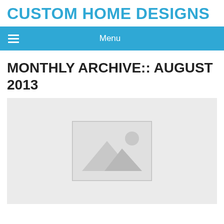CUSTOM HOME DESIGNS
Menu
MONTHLY ARCHIVE:: AUGUST 2013
[Figure (illustration): Image placeholder with mountain and sun icon on light gray background]